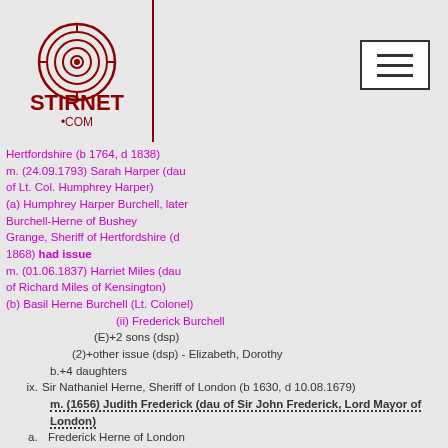[Figure (logo): Stirnet.com fingerprint logo with text STIRNET .COM in dark red]
Hertfordshire (b 1764, d 1838)
m. (24.09.1793) Sarah Harper (dau of Lt. Col. Humphrey Harper)
(a) Humphrey Harper Burchell, later Burchell-Herne of Bushey Grange, Sheriff of Hertfordshire (d 1868) had issue
m. (01.06.1837) Harriet Miles (dau of Richard Miles of Kensington)
(b) Basil Herne Burchell (Lt. Colonel)
(ii) Frederick Burchell
(E) +2 sons (dsp)
(2) +other issue (dsp) - Elizabeth, Dorothy
b. +4 daughters
ix. Sir Nathaniel Herne, Sheriff of London (b 1630, d 10.08.1679)
m. (1656) Judith Frederick (dau of Sir John Frederick, Lord Mayor of London)
a. Frederick Herne of London
m. (Elizabeth) Lile (Lisle) of